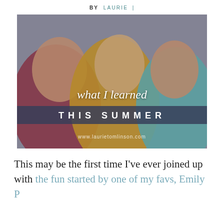BY LAURIE |
[Figure (photo): Photo of a woman and two children wearing rain jackets (red, yellow, and teal) with text overlay reading 'what I learned THIS SUMMER' and URL www.laurietomlinson.com]
This may be the first time I've ever joined up with the fun started by one of my favs, Emily P